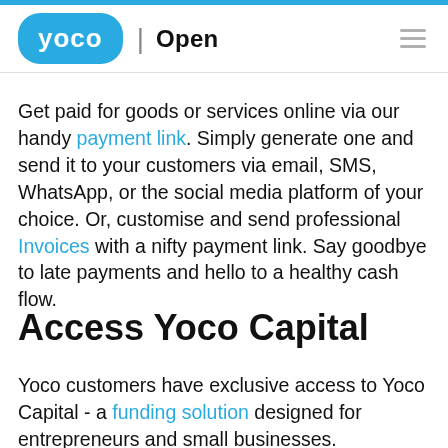YOCO | Open
Get paid for goods or services online via our handy payment link. Simply generate one and send it to your customers via email, SMS, WhatsApp, or the social media platform of your choice. Or, customise and send professional Invoices with a nifty payment link. Say goodbye to late payments and hello to a healthy cash flow.
Access Yoco Capital
Yoco customers have exclusive access to Yoco Capital - a funding solution designed for entrepreneurs and small businesses.